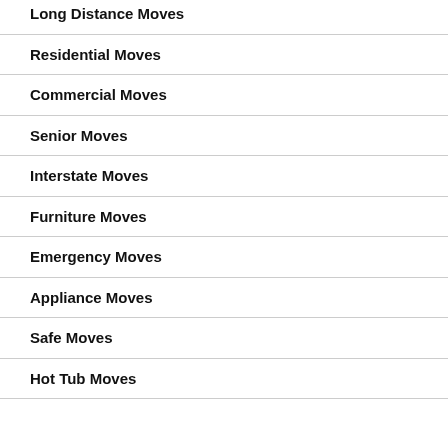Long Distance Moves
Residential Moves
Commercial Moves
Senior Moves
Interstate Moves
Furniture Moves
Emergency Moves
Appliance Moves
Safe Moves
Hot Tub Moves